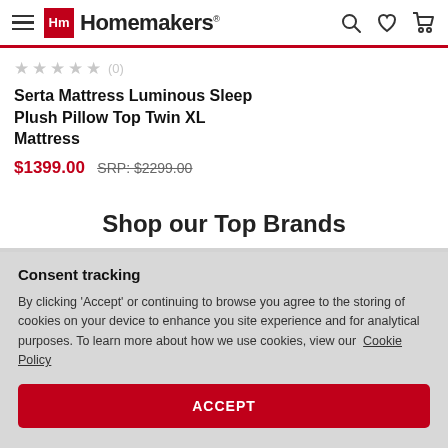Homemakers
★★★★★ (0)
Serta Mattress Luminous Sleep Plush Pillow Top Twin XL Mattress
$1399.00 SRP: $2299.00
Shop our Top Brands
Consent tracking
By clicking 'Accept' or continuing to browse you agree to the storing of cookies on your device to enhance you site experience and for analytical purposes. To learn more about how we use cookies, view our Cookie Policy
ACCEPT